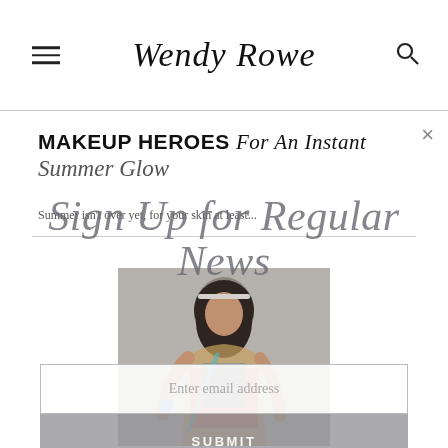Wendy Rowe
MAKEUP HEROES For An Instant Summer Glow
Summer isn't over yet, for your skin at least...
Sign Up for Regular News
[Figure (photo): Fashion photo of a woman with boho accessories, headband, and colorful clothing]
Enter email address
SUBMIT